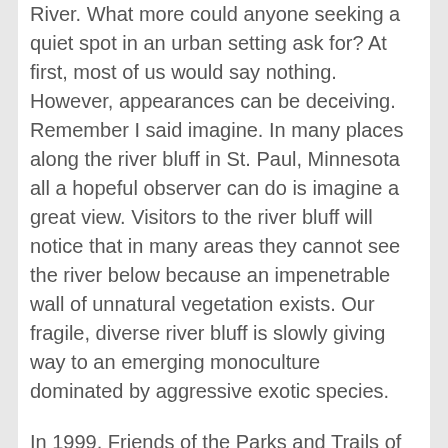River. What more could anyone seeking a quiet spot in an urban setting ask for? At first, most of us would say nothing. However, appearances can be deceiving. Remember I said imagine. In many places along the river bluff in St. Paul, Minnesota all a hopeful observer can do is imagine a great view. Visitors to the river bluff will notice that in many areas they cannot see the river below because an impenetrable wall of unnatural vegetation exists. Our fragile, diverse river bluff is slowly giving way to an emerging monoculture dominated by aggressive exotic species.
In 1999, Friends of the Parks and Trails of St. Paul and Ramsey County (Friends) received funding for a 36 month grant from the Legislative Commission on Minnesota Resources (LCMR). The grant specifically seeks to restore ecological health by removing exotic species and replenishing with native species; thereby